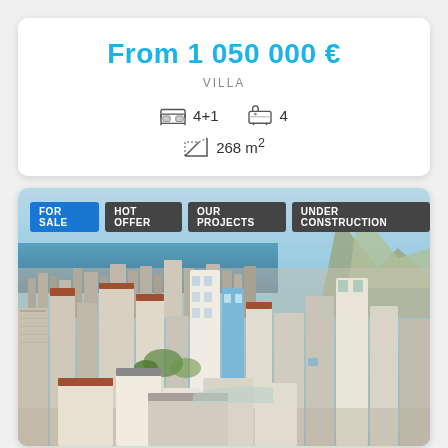From 1 050 000 €
VILLA
4+1   4   268 m²
[Figure (photo): Aerial view of a coastal city with multi-storey residential and commercial buildings, sea visible in the background, mountains on the right side. Tags visible: FOR SALE, HOT OFFER, OUR PROJECTS, UNDER CONSTRUCTION.]